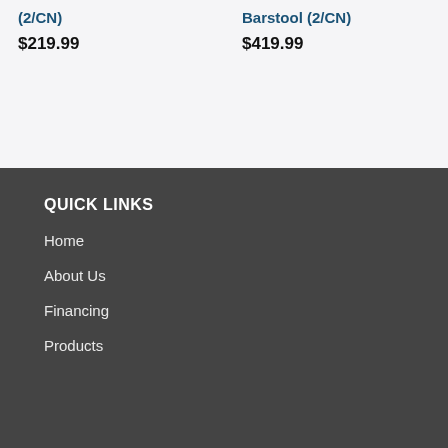(2/CN)
$219.99
Barstool (2/CN)
$419.99
QUICK LINKS
Home
About Us
Financing
Products